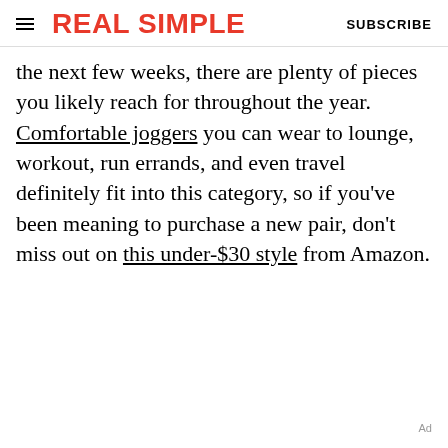REAL SIMPLE   SUBSCRIBE
the next few weeks, there are plenty of pieces you likely reach for throughout the year. Comfortable joggers you can wear to lounge, workout, run errands, and even travel definitely fit into this category, so if you've been meaning to purchase a new pair, don't miss out on this under-$30 style from Amazon.
Ad